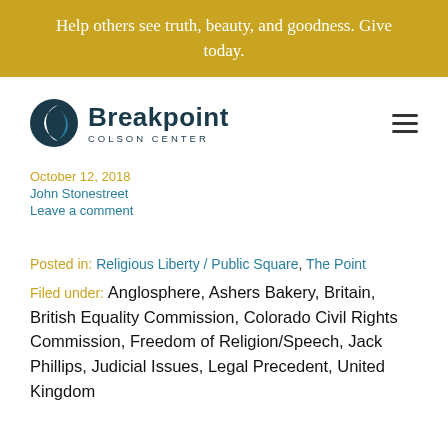Help others see truth, beauty, and goodness. Give today.
[Figure (logo): Breakpoint Colson Center logo with dark blue crescent/leaf icon and bold text]
October 12, 2018
John Stonestreet
Leave a comment
Posted in: Religious Liberty / Public Square, The Point
Filed under: Anglosphere, Ashers Bakery, Britain, British Equality Commission, Colorado Civil Rights Commission, Freedom of Religion/Speech, Jack Phillips, Judicial Issues, Legal Precedent, United Kingdom